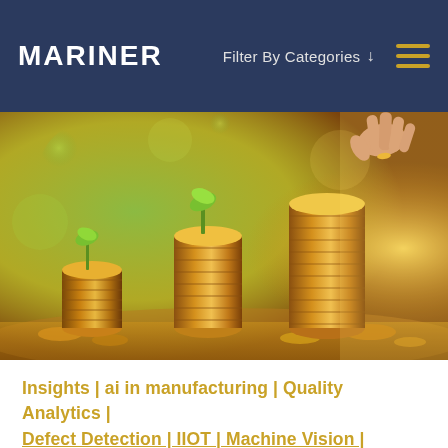MARINER | Filter By Categories ↓
[Figure (photo): Hero photograph showing three stacks of coins with small green seedlings growing from them, arranged in ascending height from left to right. A hand is reaching down to place a coin on the tallest stack. Warm golden sunlight backlight with green bokeh background.]
Insights | ai in manufacturing | Quality Analytics | Defect Detection | IIOT | Machine Vision | Custom